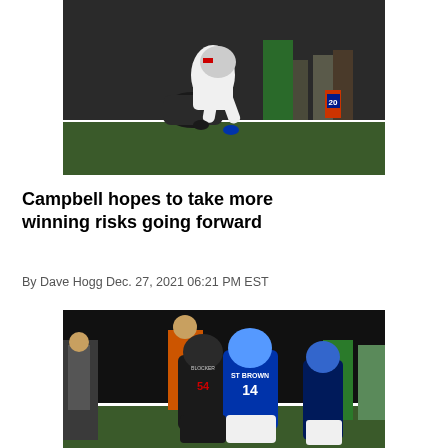[Figure (photo): NFL football action photo showing a player being tackled or lifted, with a red cone marked '20' visible on the field sideline, taken in a stadium setting with photographers in the background.]
Campbell hopes to take more winning risks going forward
By Dave Hogg Dec. 27, 2021 06:21 PM EST
[Figure (photo): NFL football action photo showing Detroit Lions player ST BROWN #14 in blue uniform being defended by Atlanta Falcons player #54 in black uniform, with a referee and other players visible in the background.]